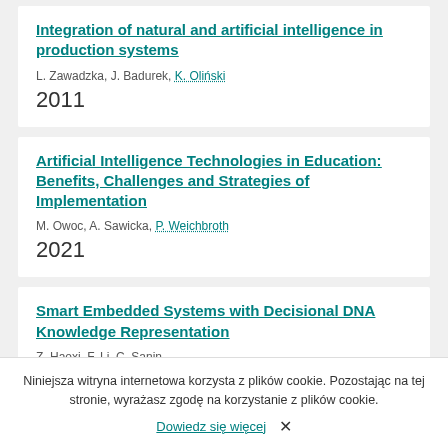Integration of natural and artificial intelligence in production systems
L. Zawadzka, J. Badurek, K. Oliński
2011
Artificial Intelligence Technologies in Education: Benefits, Challenges and Strategies of Implementation
M. Owoc, A. Sawicka, P. Weichbroth
2021
Smart Embedded Systems with Decisional DNA Knowledge Representation
Z. Haoxi, F. Li, C. Sanin
Niniejsza witryna internetowa korzysta z plików cookie. Pozostając na tej stronie, wyrażasz zgodę na korzystanie z plików cookie.
Dowiedz się więcej